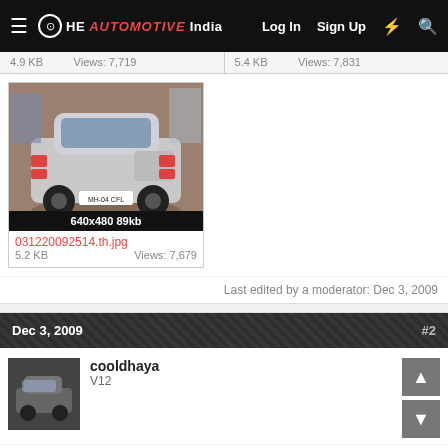THE AUTOMOTIVE INDIA — Log In  Sign Up
4.9 KB   Views: 7,719   5.4 KB   Views: 7,831
[Figure (photo): Rear view of a silver sedan car in a parking area. Thumbnail size 640x480 89kb.]
031220092514.th.jpg
5.2 KB   Views: 7,679
Last edited by a moderator: Dec 3, 2009
Dec 3, 2009   #2
cooldhaya
V12
Cool looks great but these will go even better with Swift!!